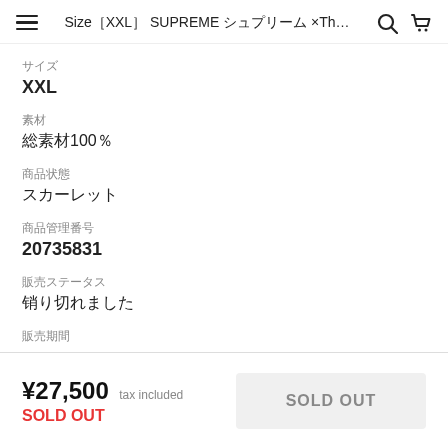Size［XXL］ SUPREME シュプリーム ×Th...
サイズ
XXL
素材
総素材100％
商品状態
スカーレット
商品管理番号
20735831
販売ステータス
销り切れました
販売期間
-
¥27,500 tax included
SOLD OUT